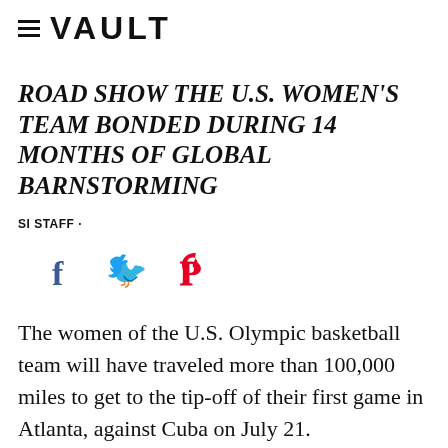≡ VAULT
ROAD SHOW THE U.S. WOMEN'S TEAM BONDED DURING 14 MONTHS OF GLOBAL BARNSTORMING
SI STAFF ·
[Figure (infographic): Social media share icons: Facebook (f), Twitter (bird), Pinterest (p)]
The women of the U.S. Olympic basketball team will have traveled more than 100,000 miles to get to the tip-off of their first game in Atlanta, against Cuba on July 21.